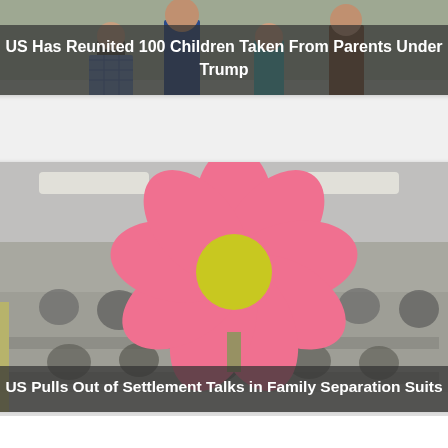[Figure (photo): Photo of people walking from behind, partial view of top of card with title overlay reading 'US Has Reunited 100 Children Taken From Parents Under Trump']
US Has Reunited 100 Children Taken From Parents Under Trump
[Figure (photo): Photo of a classroom with a large pink flower decoration in foreground, children seated at tables in blurred background, with title overlay reading 'US Pulls Out of Settlement Talks in Family Separation Suits']
US Pulls Out of Settlement Talks in Family Separation Suits
[Figure (photo): Third card, partially visible at bottom of page, white background only showing top portion]